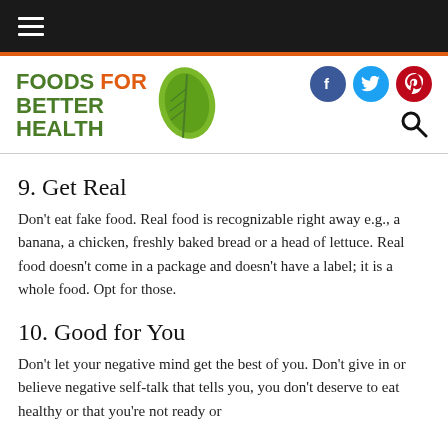Foods For Better Health — navigation bar
[Figure (logo): Foods For Better Health logo with green leaf, social media icons (Facebook, Twitter, Pinterest) and search icon]
9. Get Real
Don't eat fake food. Real food is recognizable right away e.g., a banana, a chicken, freshly baked bread or a head of lettuce. Real food doesn't come in a package and doesn't have a label; it is a whole food. Opt for those.
10. Good for You
Don't let your negative mind get the best of you. Don't give in or believe negative self-talk that tells you, you don't deserve to eat healthy or that you're not ready or